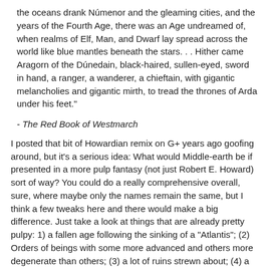the oceans drank Númenor and the gleaming cities, and the years of the Fourth Age, there was an Age undreamed of, when realms of Elf, Man, and Dwarf lay spread across the world like blue mantles beneath the stars. . . Hither came Aragorn of the Dúnedain, black-haired, sullen-eyed, sword in hand, a ranger, a wanderer, a chieftain, with gigantic melancholies and gigantic mirth, to tread the thrones of Arda under his feet."
- The Red Book of Westmarch
I posted that bit of Howardian remix on G+ years ago goofing around, but it's a serious idea: What would Middle-earth be if presented in a more pulp fantasy (not just Robert E. Howard) sort of way? You could do a really comprehensive overall, sure, where maybe only the names remain the same, but I think a few tweaks here and there would make a big difference. Just take a look at things that are already pretty pulpy: 1) a fallen age following the sinking of a "Atlantis"; (2) Orders of beings with some more advanced and others more degenerate than others; (3) a lot of ruins strewn about; (4) a